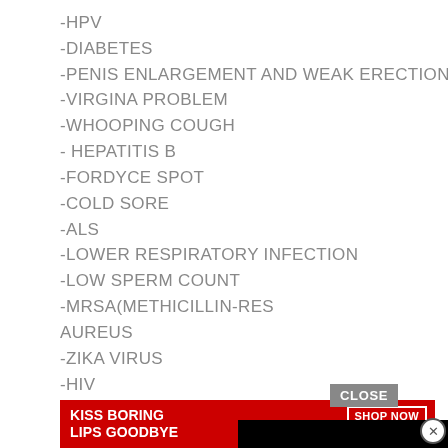-HPV
-DIABETES
-PENIS ENLARGEMENT AND WEAK ERECTION
-VIRGINA PROBLEM
-WHOOPING COUGH
- HEPATITIS B
-FORDYCE SPOT
-COLD SORE
-ALS
-LOWER RESPIRATORY INFECTION
-LOW SPERM COUNT
-MRSA(METHICILLIN-RES AUREUS
-ZIKA VIRUS
-HIV
-STROKE
-IMPOTENCE
-PILE
-HYPERTENSION
[Figure (screenshot): Black video overlay with loading spinner arc and close button]
[Figure (screenshot): Macy's advertisement banner: KISS BORING LIPS GOODBYE with SHOP NOW button]